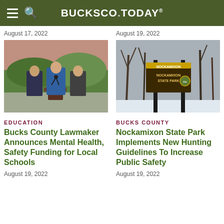BUCKSCO.TODAY
August 17, 2022
August 19, 2022
[Figure (photo): Three men standing outdoors at a podium, press conference setting with brick building and trees in background]
[Figure (photo): Nockamixon State Park sign on wooden posts in a winter wooded setting with snow on the ground]
EDUCATION
BUCKS COUNTY
Bucks County Lawmaker Announces Mental Health, Safety Funding for Local Schools
Nockamixon State Park Implements New Hunting Guidelines To Increase Public Safety
August 19, 2022
August 19, 2022